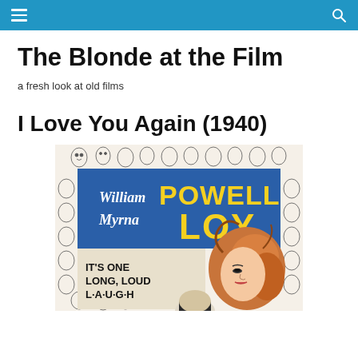The Blonde at the Film — navigation header
The Blonde at the Film
a fresh look at old films
I Love You Again (1940)
[Figure (illustration): Vintage movie poster for 'I Love You Again' (1940) featuring William Powell and Myrna Loy. Blue banner with yellow text reading POWELL LOY, with white cursive text 'William Myrna'. Border decorated with cartoon faces. Bottom left text reads IT'S ONE LONG, LOUD L-A-U-G-H. A woman with curly auburn hair is shown on the right side.]